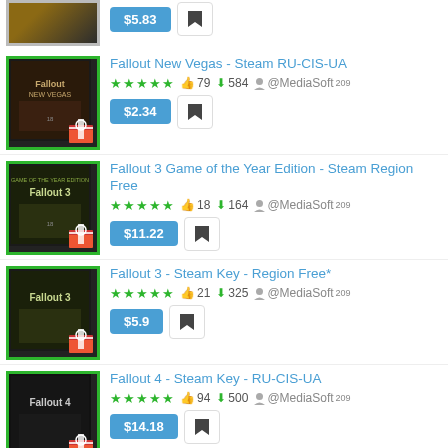$5.83 — (partial item, top of page)
Fallout New Vegas - Steam RU-CIS-UA | ★★★★★ 👍79 ⬇584 @MediaSoft 209 | $2.34
Fallout 3 Game of the Year Edition - Steam Region Free | ★★★★★ 👍18 ⬇164 @MediaSoft 209 | $11.22
Fallout 3 - Steam Key - Region Free* | ★★★★★ 👍21 ⬇325 @MediaSoft 209 | $5.9
Fallout 4 - Steam Key - RU-CIS-UA | ★★★★★ 👍94 ⬇500 @MediaSoft 209 | $14.18